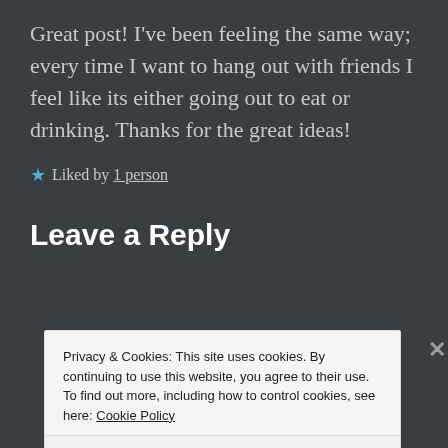Great post! I've been feeling the same way; every time I want to hang out with friends I feel like its either going out to eat or drinking. Thanks for the great ideas!
★ Liked by 1 person
Leave a Reply
Privacy & Cookies: This site uses cookies. By continuing to use this website, you agree to their use.
To find out more, including how to control cookies, see here: Cookie Policy
Close and accept